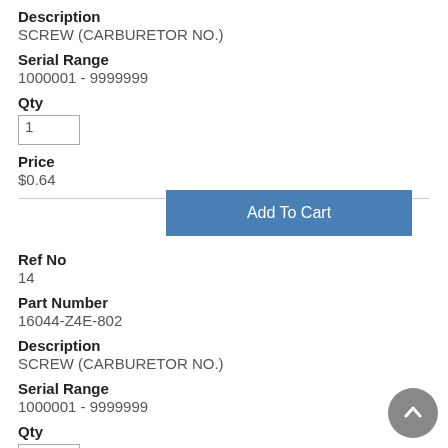Description
SCREW (CARBURETOR NO.)
Serial Range
1000001 - 9999999
Qty
1
Price
$0.64
[Figure (other): Add To Cart button]
Ref No
14
Part Number
16044-Z4E-802
Description
SCREW (CARBURETOR NO.)
Serial Range
1000001 - 9999999
Qty
1